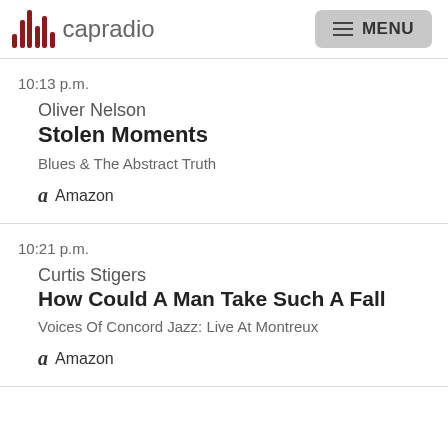capradio MENU
10:13 p.m.
Oliver Nelson
Stolen Moments
Blues & The Abstract Truth
Amazon
10:21 p.m.
Curtis Stigers
How Could A Man Take Such A Fall
Voices Of Concord Jazz: Live At Montreux
Amazon